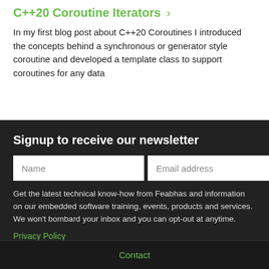C++20 Coroutine Iterators ›
In my first blog post about C++20 Coroutines I introduced the concepts behind a synchronous or generator style coroutine and developed a template class to support coroutines for any data
Signup to receive our newsletter
Get the latest technical know-how from Feabhas and information on our embedded software training, events, products and services. We won't bombard your inbox and you can opt-out at anytime.
Privacy Policy
Contact